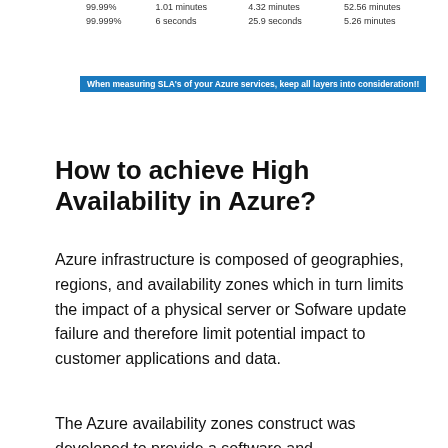| 99.99% | 1.01 minutes | 4.32 minutes | 52.56 minutes |
| 99.999% | 6 seconds | 25.9 seconds | 5.26 minutes |
When measuring SLA's of your Azure services, keep all layers into consideration!!
How to achieve High Availability in Azure?
Azure infrastructure is composed of geographies, regions, and availability zones which in turn limits the impact of a physical server or Sofware update failure and therefore limit potential impact to customer applications and data.
The Azure availability zones construct was developed to provide a software and